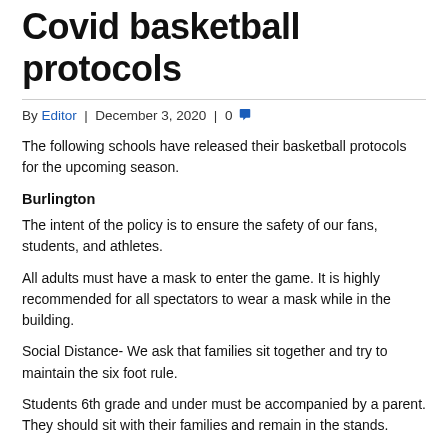Covid basketball protocols
By Editor | December 3, 2020 | 0
The following schools have released their basketball protocols for the upcoming season.
Burlington
The intent of the policy is to ensure the safety of our fans, students, and athletes.
All adults must have a mask to enter the game. It is highly recommended for all spectators to wear a mask while in the building.
Social Distance- We ask that families sit together and try to maintain the six foot rule.
Students 6th grade and under must be accompanied by a parent. They should sit with their families and remain in the stands.